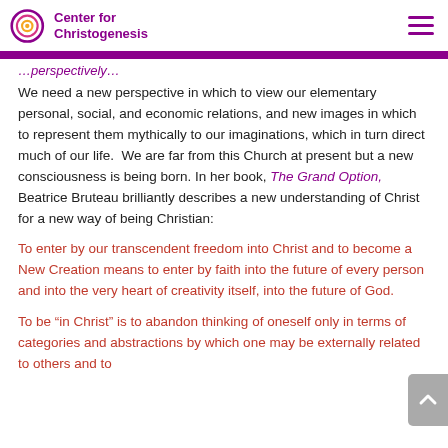Center for Christogenesis
We need a new perspective in which to view our elementary personal, social, and economic relations, and new images in which to represent them mythically to our imaginations, which in turn direct much of our life.  We are far from this Church at present but a new consciousness is being born. In her book, The Grand Option, Beatrice Bruteau brilliantly describes a new understanding of Christ for a new way of being Christian:
To enter by our transcendent freedom into Christ and to become a New Creation means to enter by faith into the future of every person and into the very heart of creativity itself, into the future of God.
To be “in Christ” is to abandon thinking of oneself only in terms of categories and abstractions by which one may be externally related to others and to